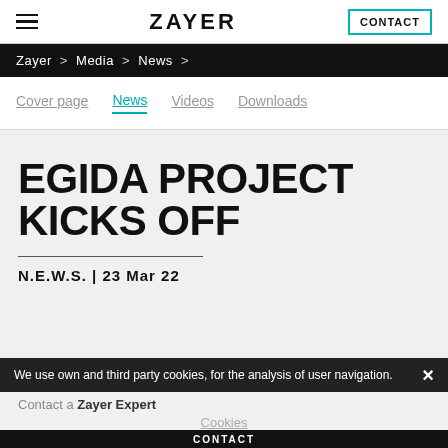ZAYER | CONTACT
Zayer > Media > News >
Cover page | News | Videos | Downloads
EGIDA PROJECT KICKS OFF
N.E.W.S. | 23 Mar 22
We use own and third party cookies, for the analysis of user navigation.
Contact a Zayer Expert
Cookies